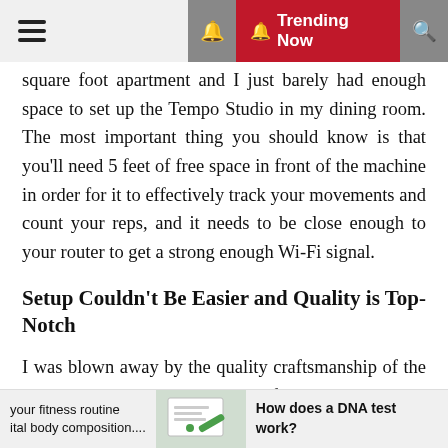≡   🔔 Trending Now   🔍
square foot apartment and I just barely had enough space to set up the Tempo Studio in my dining room. The most important thing you should know is that you'll need 5 feet of free space in front of the machine in order for it to effectively track your movements and count your reps, and it needs to be close enough to your router to get a strong enough Wi-Fi signal.
Setup Couldn't Be Easier and Quality is Top-Notch
I was blown away by the quality craftsmanship of the Tempo Studio — its equipment feels like something out of an expensive fitness studio.
The barbell is just as hefty as a commercial-grade one, the included collars are premium, and the weight plates are rubberized, which makes them easier to grip while
your fitness routine   How does a DNA test work?
ital body composition....